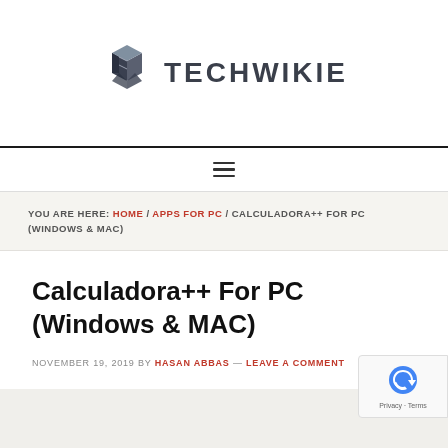[Figure (logo): Techwikie logo with geometric cube icon and bold uppercase text TECHWIKIE]
≡ (hamburger navigation menu)
YOU ARE HERE: HOME / APPS FOR PC / CALCULADORA++ FOR PC (WINDOWS & MAC)
Calculadora++ For PC (Windows & MAC)
NOVEMBER 19, 2019 BY HASAN ABBAS — LEAVE A COMMENT